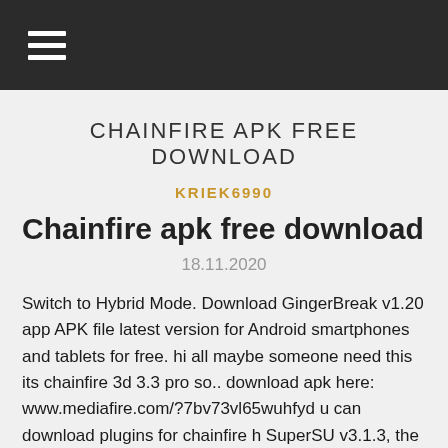☰
CHAINFIRE APK FREE DOWNLOAD
KRIEK6990
Chainfire apk free download
18.11.2020
Switch to Hybrid Mode. Download GingerBreak v1.20 app APK file latest version for Android smartphones and tablets for free. hi all maybe someone need this its chainfire 3d 3.3 pro so.. download apk here: www.mediafire.com/?7bv73vl65wuhfyd u can download plugins for chainfire h SuperSU v3.1.3, the latest SuperSU APK download version supports better android system